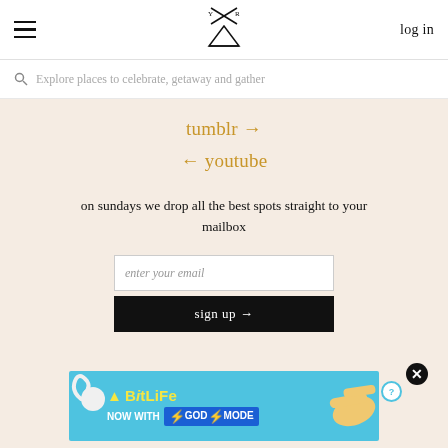hamburger menu | logo | log in
Explore places to celebrate, getaway and gather
tumblr → ← youtube
on sundays we drop all the best spots straight to your mailbox
enter your email
sign up →
[Figure (screenshot): BitLife advertisement banner — NOW WITH GOD MODE — colorful ad with snake graphic and pointing hand on blue background with close button]